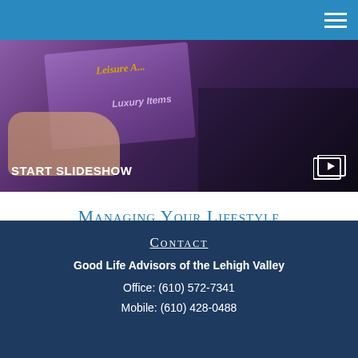[Figure (screenshot): Slideshow thumbnail image showing luxury leisure items on a purple background with a 'START SLIDESHOW' label and a play/slideshow icon in the bottom right corner.]
Managing Your Lifestyle
Using smart management to get more of what you want and free up assets to invest.
CONTACT
Good Life Advisors of the Lehigh Valley
Office: (610) 572-7341
Mobile: (610) 428-0488